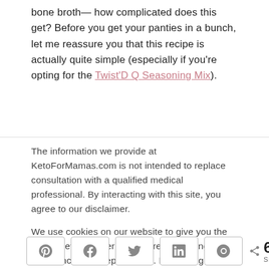bone broth— how complicated does this get? Before you get your panties in a bunch, let me reassure you that this recipe is actually quite simple (especially if you're opting for the Twist'D Q Seasoning Mix).
The information we provide at KetoForMamas.com is not intended to replace consultation with a qualified medical professional. By interacting with this site, you agree to our disclaimer.
We use cookies on our website to give you the most relevant experience by remembering your preferences and repeat visits. By clicking "Accept", you consent to the use of ALL the cookies.
[Figure (other): Social share buttons: Pinterest, Facebook, Twitter, LinkedIn, Yummly icons, and share count showing 62 SHARES]